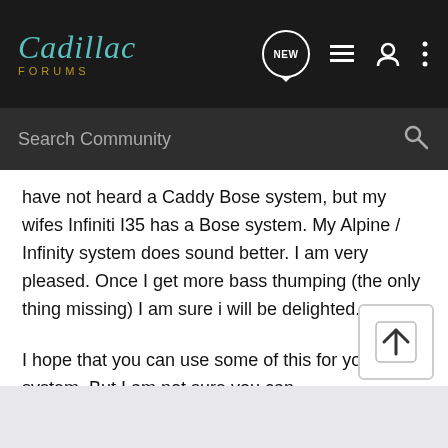[Figure (screenshot): Cadillac Forums navigation bar with logo, NEW button, list icon, user icon, and more icon]
[Figure (screenshot): Search Community search bar with magnifying glass icon]
have not heard a Caddy Bose system, but my wifes Infiniti I35 has a Bose system. My Alpine / Infinity system does sound better. I am very pleased. Once I get more bass thumping (the only thing missing) I am sure i will be delighted.
I hope that you can use some of this for your Bose system. But I am not sure you can.
Don